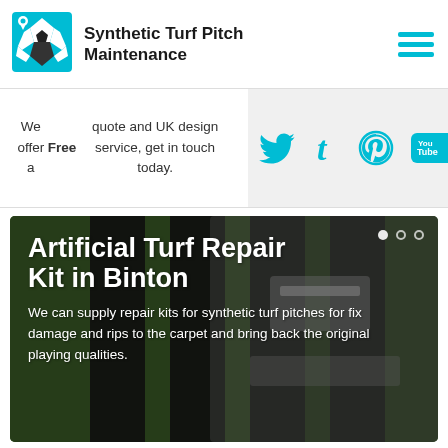[Figure (logo): Synthetic Turf Pitch Maintenance logo with soccer ball icon on cyan background]
Synthetic Turf Pitch Maintenance
[Figure (infographic): Hamburger menu icon with three cyan horizontal lines]
We offer a Free quote and UK design service, get in touch today.
[Figure (infographic): Social media icons: Twitter bird, Tumblr t, Pinterest pin, YouTube logo in cyan on light grey background]
[Figure (photo): Hero banner photo of artificial turf repair kit showing green grass with dark rubber strips and repair materials]
Artificial Turf Repair Kit in Binton
We can supply repair kits for synthetic turf pitches for fix damage and rips to the carpet and bring back the original playing qualities.